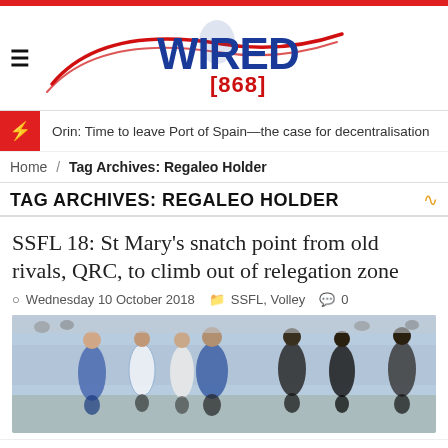[Figure (logo): Wired868 sports news website logo with red swoosh and blue bold text]
Orin: Time to leave Port of Spain—the case for decentralisation
Home / Tag Archives: Regaleo Holder
TAG ARCHIVES: REGALEO HOLDER
SSFL 18: St Mary's snatch point from old rivals, QRC, to climb out of relegation zone
Wednesday 10 October 2018   SSFL, Volley   0
[Figure (photo): Soccer players in blue and white uniforms during a match]